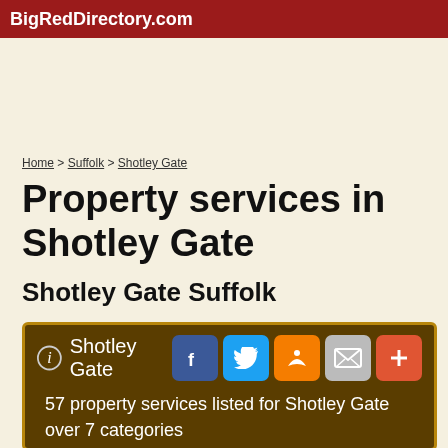BigRedDirectory.com
Home > Suffolk > Shotley Gate
Property services in Shotley Gate
Shotley Gate Suffolk
i Shotley Gate
57 property services listed for Shotley Gate over 7 categories